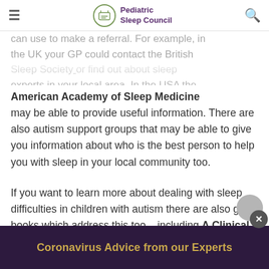Pediatric Sleep Council
can use to make a referral. For example, in the UK your GP could contact the British Sleep Society or find out about sleep experts in your local area. In the USA the
American Academy of Sleep Medicine may be able to provide useful information. There are also autism support groups that may be able to give you information about who is the best person to help you with sleep in your local community too.
If you want to learn more about dealing with sleep difficulties in children with autism there are also good books which address this too – including A Clinical Guide to Pediatric Sleep by Jodi Mindell and Judith
Coronavirus Advice from our Experts